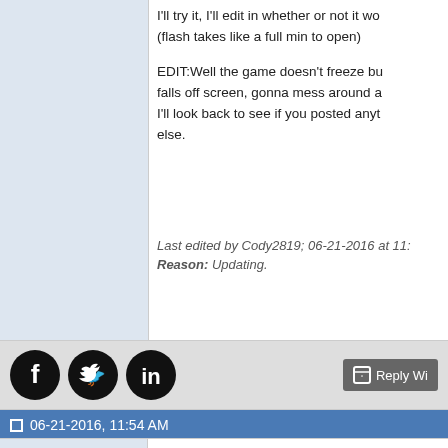I'll try it, I'll edit in whether or not it wo... (flash takes like a full min to open)
EDIT:Well the game doesn't freeze bu... falls off screen, gonna mess around a... I'll look back to see if you posted anyt... else.
Last edited by Cody2819; 06-21-2016 at 11:... Reason: Updating.
Reply Wi...
06-21-2016, 11:54 AM
Cody2819
Junior Member
Join Date: Aug 2015
Posts: 26
OK I edited it to
while (ground.hitTest(Son._x, Son._y,
&& grav-->0) {
and Sonic does touch the ground, but... won't stop bouncing up and down. At... we're getting somewhere.
EDIT:With the var count do I add it i...